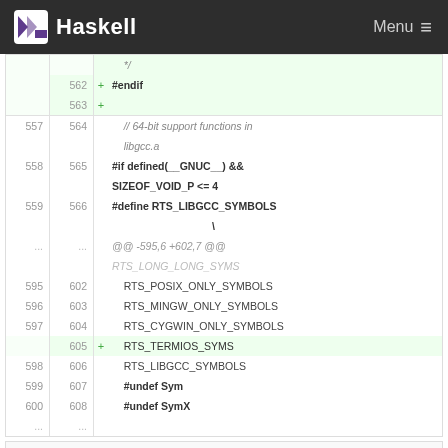Haskell  Menu
[Figure (screenshot): Code diff view showing Haskell GHC RTS source file changes. Added lines 562-563 showing #endif and blank line (green background). Context lines 557-600 and 564-608 showing C preprocessor directives for 64-bit support functions in libgcc.a including #if defined(__GNUC__) && SIZEOF_VOID_P <= 4, #define RTS_LIBGCC_SYMBOLS, RTS_POSIX_ONLY_SYMBOLS, RTS_MINGW_ONLY_SYMBOLS, RTS_CYGWIN_ONLY_SYMBOLS, + RTS_TERMIOS_SYMS (added, line 605), RTS_LIBGCC_SYMBOLS, #undef Sym, #undef SymX. Bottom partial section visible.]